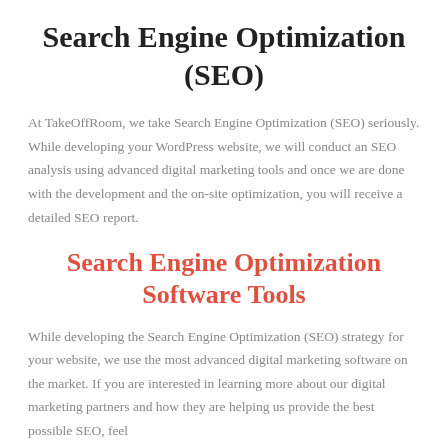Search Engine Optimization (SEO)
At TakeOffRoom, we take Search Engine Optimization (SEO) seriously. While developing your WordPress website, we will conduct an SEO analysis using advanced digital marketing tools and once we are done with the development and the on-site optimization, you will receive a detailed SEO report.
Search Engine Optimization Software Tools
While developing the Search Engine Optimization (SEO) strategy for your website, we use the most advanced digital marketing software on the market. If you are interested in learning more about our digital marketing partners and how they are helping us provide the best possible SEO, feel